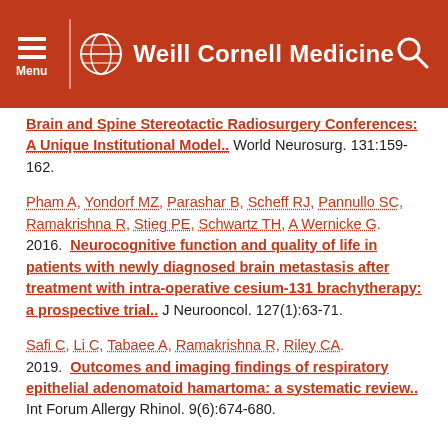Weill Cornell Medicine
Brain and Spine Stereotactic Radiosurgery Conferences: A Unique Institutional Model.. World Neurosurg. 131:159-162.
Pham A, Yondorf MZ, Parashar B, Scheff RJ, Pannullo SC, Ramakrishna R, Stieg PE, Schwartz TH, A Wernicke G. 2016. Neurocognitive function and quality of life in patients with newly diagnosed brain metastasis after treatment with intra-operative cesium-131 brachytherapy: a prospective trial.. J Neurooncol. 127(1):63-71.
Safi C, Li C, Tabaee A, Ramakrishna R, Riley CA. 2019. Outcomes and imaging findings of respiratory epithelial adenomatoid hamartoma: a systematic review.. Int Forum Allergy Rhinol. 9(6):674-680.